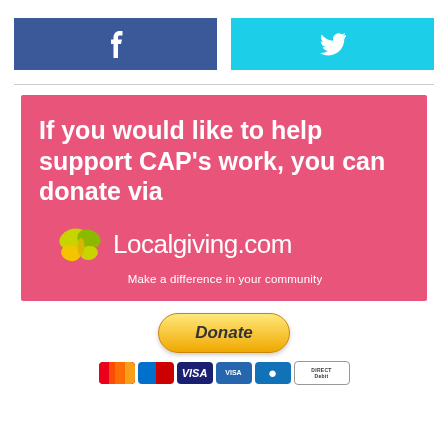[Figure (infographic): Facebook and Twitter social media share buttons side by side. Facebook button is dark blue with 'f' icon, Twitter button is cyan/light blue with bird icon.]
[Figure (infographic): Pink/salmon colored banner with white bold text: 'If you would like to help support CAP's work, you can donate via' followed by Localgiving.com logo with butterfly graphic and tagline 'Make a difference in your community']
[Figure (infographic): Yellow PayPal Donate button followed by payment method icons: MasterCard, Maestro, Visa, Visa Electron, American Express, Direct Debit]